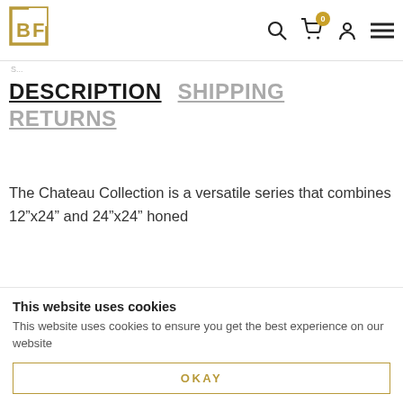[Figure (logo): BF logo — gold square bracket design with letters B and F]
DESCRIPTION   SHIPPING RETURNS
The Chateau Collection is a versatile series that combines 12"x24" and 24"x24" honed
This website uses cookies
This website uses cookies to ensure you get the best experience on our website
OKAY